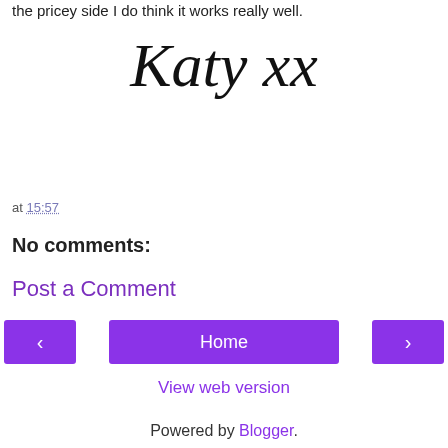the pricey side I do think it works really well.
[Figure (illustration): Handwritten cursive signature reading 'Katy xx' in large black script font centered on the page.]
at 15:57
No comments:
Post a Comment
Home
View web version
Powered by Blogger.